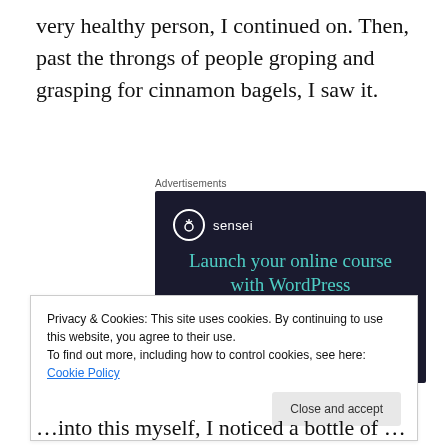very healthy person, I continued on. Then, past the throngs of people groping and grasping for cinnamon bagels, I saw it.
[Figure (screenshot): Advertisement banner for Sensei plugin showing dark navy background with teal text 'Launch your online course with WordPress' and a teal 'Learn More' button with a white Sensei logo at the top left.]
Privacy & Cookies: This site uses cookies. By continuing to use this website, you agree to their use.
To find out more, including how to control cookies, see here: Cookie Policy
Close and accept
…into this myself, I noticed a bottle of rich…